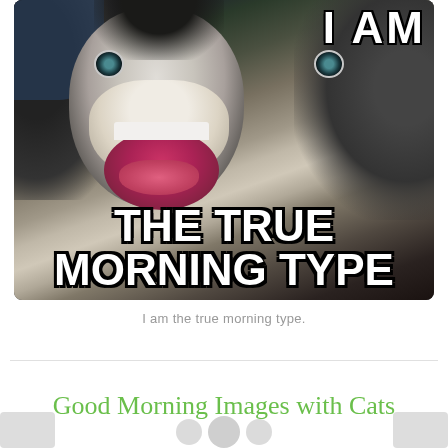[Figure (photo): Meme image of an excited dog (puppy) with mouth wide open, looking up. White bold Impact text overlay reads 'I AM' at top right and 'THE TRUE MORNING TYPE' at the bottom.]
I am the true morning type.
Good Morning Images with Cats